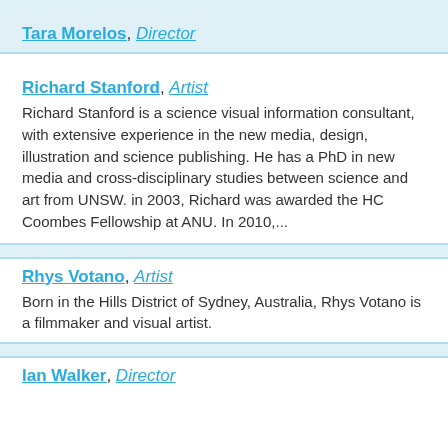Tara Morelos, Director
Richard Stanford, Artist
Richard Stanford is a science visual information consultant, with extensive experience in the new media, design, illustration and science publishing. He has a PhD in new media and cross-disciplinary studies between science and art from UNSW. in 2003, Richard was awarded the HC Coombes Fellowship at ANU. In 2010,...
Rhys Votano, Artist
Born in the Hills District of Sydney, Australia, Rhys Votano is a filmmaker and visual artist.
Ian Walker, Director